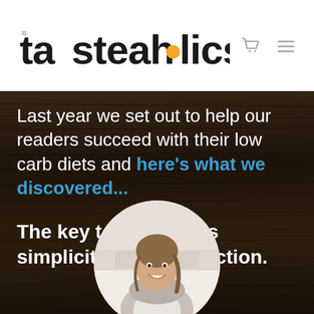[Figure (logo): Tasteaholics logo with steam marks above 't', orange egg/dot between 'h' and 'l', shopping cart icon and hamburger menu icon to the right]
Last year we set out to help our readers succeed with their low carb diets and here's what we discovered...
The key to success is simplicity and satisfaction.
[Figure (photo): Circular cropped photo of a smiling young woman with braided hair wearing a light-colored apron, in a kitchen setting]